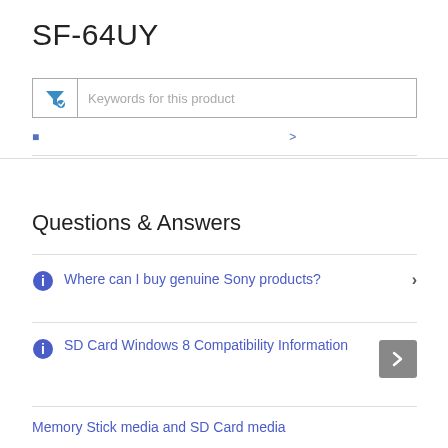SF-64UY
[Figure (screenshot): Search/filter input box with funnel icon and placeholder text 'Keywords for this product']
Keywords for this product
Questions & Answers
Where can I buy genuine Sony products?
SD Card Windows 8 Compatibility Information
Memory Stick media and SD Card media